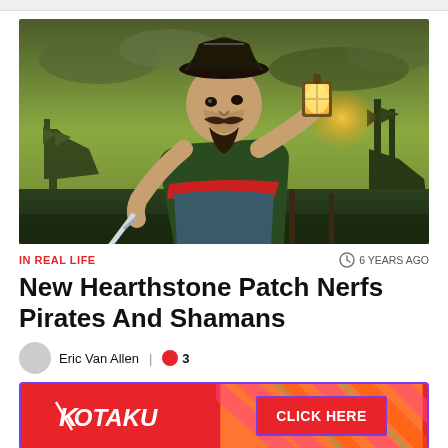[Figure (illustration): Digital game art of a pirate character wearing a tricorn hat, holding a glowing lantern in one hand and a sword in the other, with ships visible in a dark harbor background]
IN REAL LIFE
6 YEARS AGO
New Hearthstone Patch Nerfs Pirates And Shamans
Eric Van Allen  |  3
[Figure (logo): Kotaku advertisement banner with Kotaku logo on left and CLICK HERE button on right with diagonal stripe pattern]